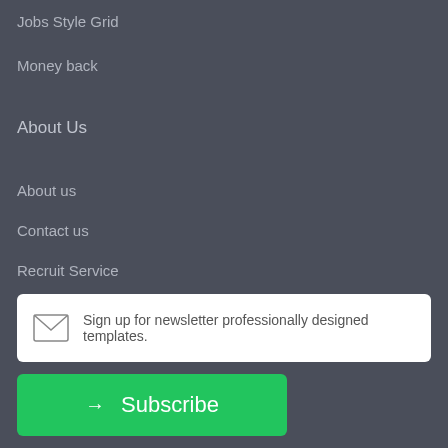Jobs Style Grid
Money back
About Us
About us
Contact us
Recruit Service
Academy Amazon
Sign up for newsletter professionally designed templates.
Subscribe